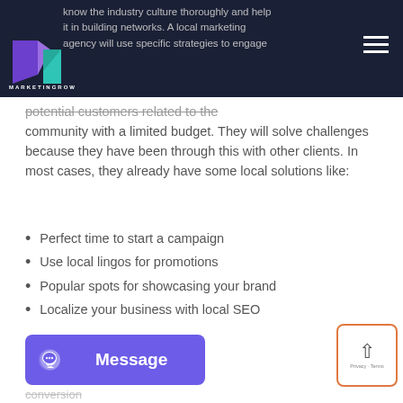MARKETINGROW — navigation header with logo
know the industry culture thoroughly and help it in building networks. A local marketing agency will use specific strategies to engage potential customers related to the community with a limited budget. They will solve challenges because they have been through this with other clients. In most cases, they already have some local solutions like:
Perfect time to start a campaign
Use local lingos for promotions
Popular spots for showcasing your brand
Localize your business with local SEO
[Figure (other): Purple Message button with chat icon at bottom left]
[Figure (other): Scroll-to-top widget with orange border and up arrow at bottom right]